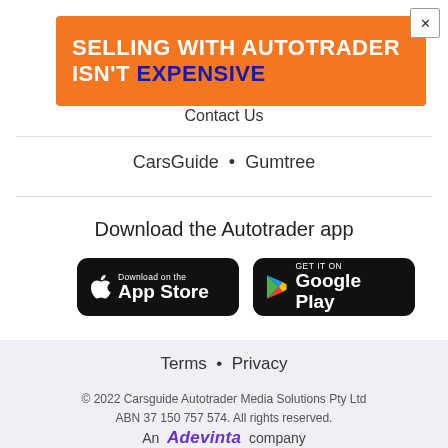[Figure (illustration): Orange advertisement banner: 'SELLING WITH AUTOTRADER ISN'T EXPENSIVE' with close button (X) at top right]
Contact Us
CarsGuide • Gumtree
Download the Autotrader app
[Figure (illustration): App Store and Google Play download buttons]
Terms • Privacy
© 2022 Carsguide Autotrader Media Solutions Pty Ltd ABN 37 150 757 574. All rights reserved.
An Adevinta company